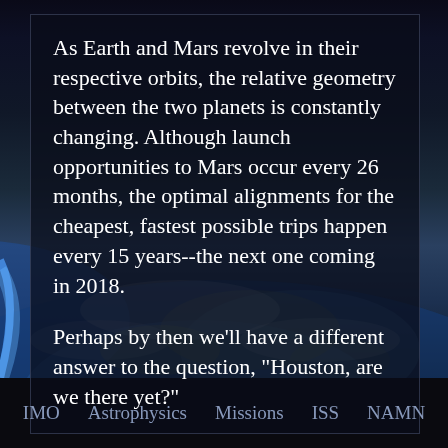As Earth and Mars revolve in their respective orbits, the relative geometry between the two planets is constantly changing. Although launch opportunities to Mars occur every 26 months, the optimal alignments for the cheapest, fastest possible trips happen every 15 years--the next one coming in 2018.
Perhaps by then we'll have a different answer to the question, "Houston, are we there yet?"
IMO   Astrophysics   Missions   ISS   NAMN